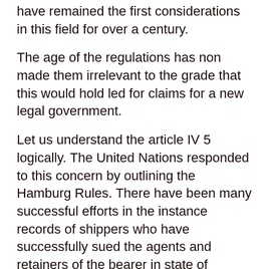have remained the first considerations in this field for over a century.
The age of the regulations has non made them irrelevant to the grade that this would hold led for claims for a new legal government.
Let us understand the article IV 5 logically. The United Nations responded to this concern by outlining the Hamburg Rules. There have been many successful efforts in the instance records of shippers who have successfully sued the agents and retainers of the bearer in state of affairss where the bearer had excluded liability.
This objective was achieved by incorporating standard clauses into the bills of lading, defining the risks which must be borne by the carrier and specifying the maximum protection he could claim from exclusion and limitation of liability clauses.